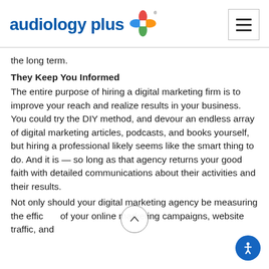audiology plus
the long term.
They Keep You Informed
The entire purpose of hiring a digital marketing firm is to improve your reach and realize results in your business. You could try the DIY method, and devour an endless array of digital marketing articles, podcasts, and books yourself, but hiring a professional likely seems like the smart thing to do. And it is — so long as that agency returns your good faith with detailed communications about their activities and their results.
Not only should your digital marketing agency be measuring the efficacy of your online marketing campaigns, website traffic, and